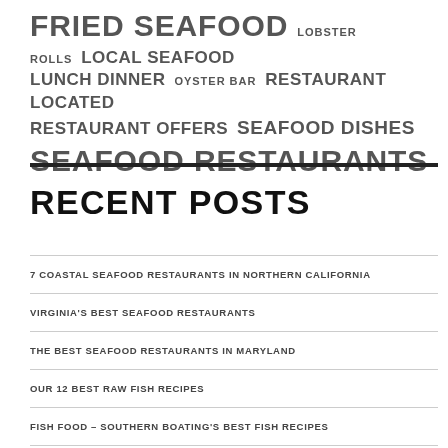FRIED SEAFOOD  LOBSTER ROLLS  LOCAL SEAFOOD  LUNCH DINNER  OYSTER BAR  RESTAURANT LOCATED  RESTAURANT OFFERS  SEAFOOD DISHES  SEAFOOD RESTAURANTS
RECENT POSTS
7 COASTAL SEAFOOD RESTAURANTS IN NORTHERN CALIFORNIA
VIRGINIA'S BEST SEAFOOD RESTAURANTS
THE BEST SEAFOOD RESTAURANTS IN MARYLAND
OUR 12 BEST RAW FISH RECIPES
FISH FOOD – SOUTHERN BOATING'S BEST FISH RECIPES